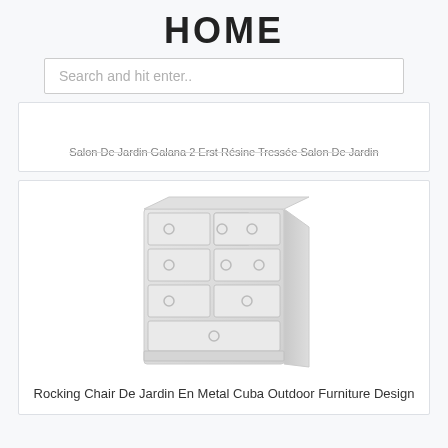HOME
Search and hit enter..
Salon De Jardin Salana 2 Erst Résine Tressée Salon De Jardin
[Figure (photo): A white chest of drawers / dresser with multiple drawers and round knobs, rendered in a light, washed-out white tone against a white background.]
Rocking Chair De Jardin En Metal Cuba Outdoor Furniture Design